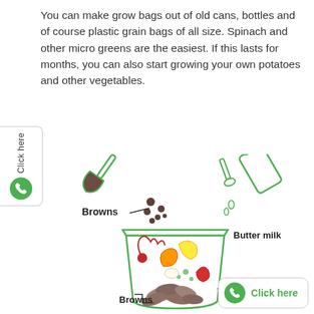You can make grow bags out of old cans, bottles and of course plastic grain bags of all size. Spinach and other micro greens are the easiest. If this lasts for months, you can also start growing your own potatoes and other vegetables.
[Figure (illustration): Composting diagram showing a bucket/bin with organic waste inside (leaves, vegetable scraps, fruit peels, beet greens). A trowel pouring dark soil/seeds falls in from the upper left labeled 'Browns'. A bottle tilted pouring liquid from upper right labeled 'Butter milk'. The bin contents are labeled 'Browns' at the bottom left and 'Organic' at the bottom right. A 'Click here' WhatsApp button appears at bottom right.]